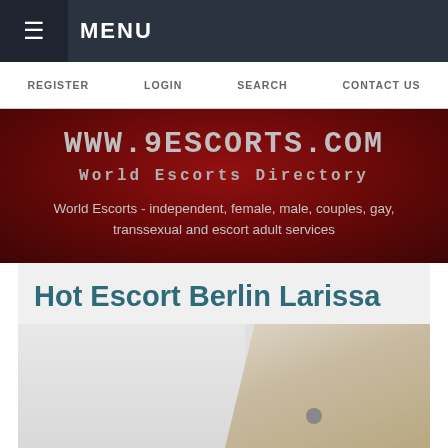≡ MENU
REGISTER   LOGIN   SEARCH   CONTACT US
WWW.9ESCORTS.COM
World Escorts Directory
World Escorts - independent, female, male, couples, gay, transsexual and escort adult services
Hot Escort Berlin Larissa
[Figure (photo): Photo of escort listing - partial image showing light-colored object]